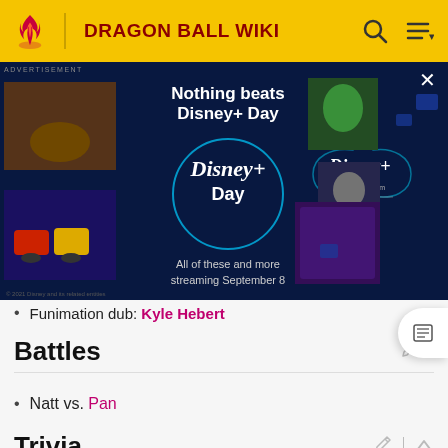DRAGON BALL WIKI
[Figure (screenshot): Disney+ Day advertisement banner with dark blue background, Disney+ logo in circle, Cars and other movie characters on left, green superhero top right, Thor bottom right. Text: 'Nothing beats Disney+ Day', 'Disney+ Day', 'All of these and more streaming September 8']
Funimation dub: Kyle Hebert
Battles
Natt vs. Pan
Trivia
Natt's name is based on "
Nut"